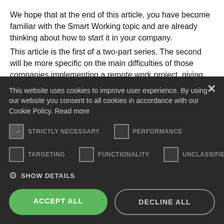We hope that at the end of this article, you have become familiar with the Smart Working topic and are already thinking about how to start it in your company. This article is the first of a two-part series. The second will be more specific on the main difficulties of those companies implementing a remote work project, giving examples of successful implementation both internationally and nationally. Besides, if you have any doubt or question, feel free to write us at marketing@greenvulcano.com
This website uses cookies to improve user experience. By using our website you consent to all cookies in accordance with our Cookie Policy. Read more